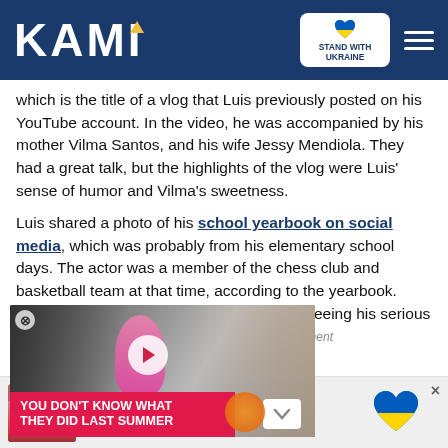KAMI — Stand With Ukraine
which is the title of a vlog that Luis previously posted on his YouTube account. In the video, he was accompanied by his mother Vilma Santos, and his wife Jessy Mendiola. They had a great talk, but the highlights of the vlog were Luis' sense of humor and Vilma's sweetness.
Luis shared a photo of his school yearbook on social media, which was probably from his elementary school days. The actor was a member of the chess club and basketball team at that time, according to the yearbook. "Ano pinagsasabi ko?" he exclaimed after seeing his serious write-
[Figure (screenshot): Video promo overlay showing two people, with play button and title 'YOU DON'T KNOW WHAT THEY DID LAST SUMMER' on red bar]
[Figure (infographic): Stand With Ukraine donation banner with heart logo showing Ukrainian flag colors, text: Stand With Ukraine, Donate to save the lives of millions of children]